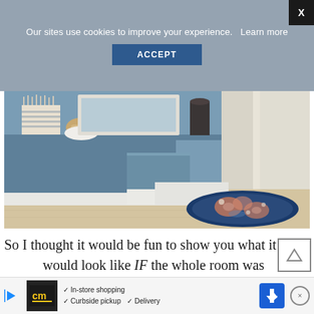Our sites use cookies to improve your experience.   Learn more
ACCEPT
[Figure (photo): Interior room photo showing blue painted furniture/built-ins with white trim, light wood floor, and a colorful Persian-style rug near a white door. Decorative items on top of the blue unit including what appears to be a brush/comb and fabric with tassels.]
So I thought it would be fun to show you what it would look like IF the whole room was painted the Good Jeans blue that I had wanted. Again,
not a…   just
✓ In-store shopping
✓ Curbside pickup  ✓ Delivery